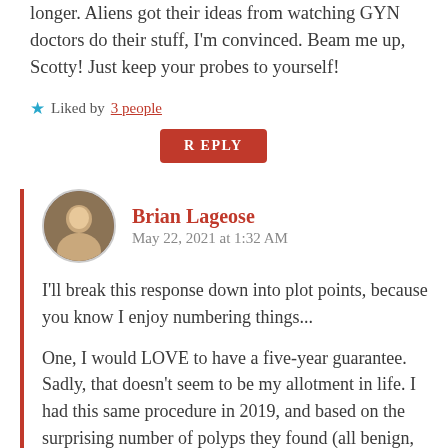longer. Aliens got their ideas from watching GYN doctors do their stuff, I'm convinced. Beam me up, Scotty! Just keep your probes to yourself!
★ Liked by 3 people
REPLY
Brian Lageose
May 22, 2021 at 1:32 AM
I'll break this response down into plot points, because you know I enjoy numbering things...
One, I would LOVE to have a five-year guarantee. Sadly, that doesn't seem to be my allotment in life. I had this same procedure in 2019, and based on the surprising number of polyps they found (all benign, happily) they